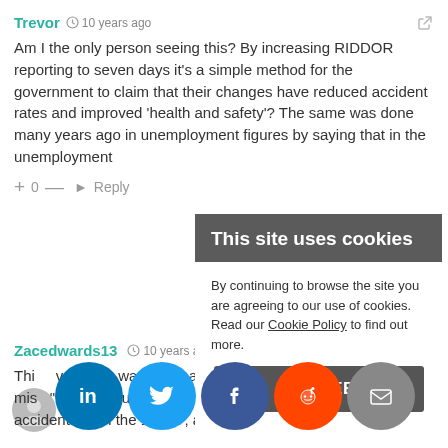Trevor  10 years ago
Am I the only person seeing this? By increasing RIDDOR reporting to seven days it's a simple method for the government to claim that their changes have reduced accident rates and improved 'health and safety'? The same was done many years ago in unemployment figures by saying that in the unemployment
+ 0 —  Reply
Zacedwards13  10 years ago
This government always been about earning for mis I rec hundreds of deaths and many accidents from the 1930s', are these mistake to be buried
This site uses cookies
By continuing to browse the site you are agreeing to our use of cookies. Read our Cookie Policy to find out more.
I AGREE